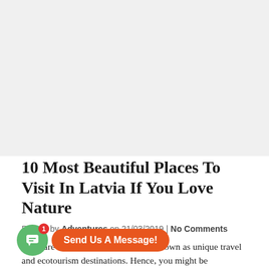[Figure (photo): Large image area at top of page (image not loaded, shown as light gray placeholder)]
10 Most Beautiful Places To Visit In Latvia If You Love Nature
Posted by Adventures on 21/03/2019 | No Comments
...tes are becoming more and more known as unique travel and ecotourism destinations. Hence, you might be
[Figure (screenshot): Chat widget overlay: green circular icon with white chat bubble and red badge showing '1', next to orange pill-shaped button labeled 'Send Us A Message!']